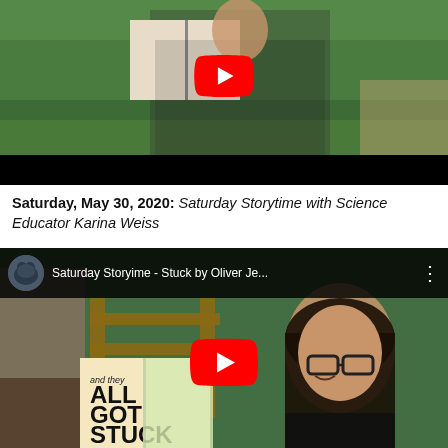[Figure (screenshot): YouTube video thumbnail showing a woman in a patterned dress holding an open book outdoors on grass, with a red YouTube play button overlay and a black progress bar at the bottom.]
Saturday, May 30, 2020: Saturday Storytime with Science Educator Karina Weiss
[Figure (screenshot): YouTube video thumbnail showing a woman with glasses holding an open book reading 'ALL GOT STUCK' outdoors, with a YouTube title bar showing 'Saturday Storytime - Stuck by Oliver Je...' and a red YouTube play button overlay.]